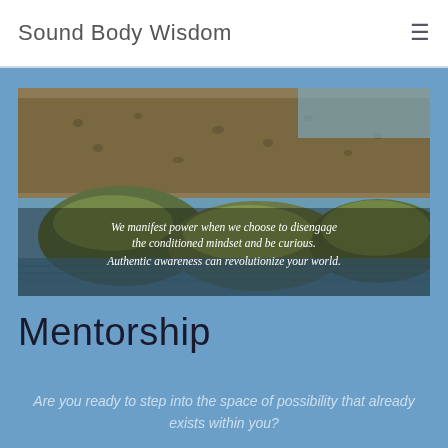Sound Body Wisdom
[Figure (photo): Outdoor photo of moss-covered rocks in water with an overlaid italic quote: 'We manifest power when we choose to disengage the conditioned mindset and be curious. Authentic awareness can revolutionize your world.']
Mentorship
Are you ready to step into the space of possibility that already exists within you?